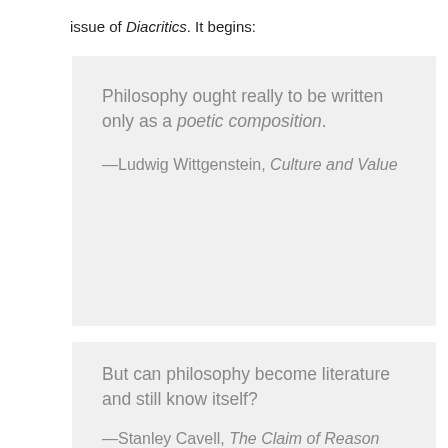issue of Diacritics. It begins:
Philosophy ought really to be written only as a poetic composition.

—Ludwig Wittgenstein, Culture and Value
But can philosophy become literature and still know itself?

—Stanley Cavell, The Claim of Reason